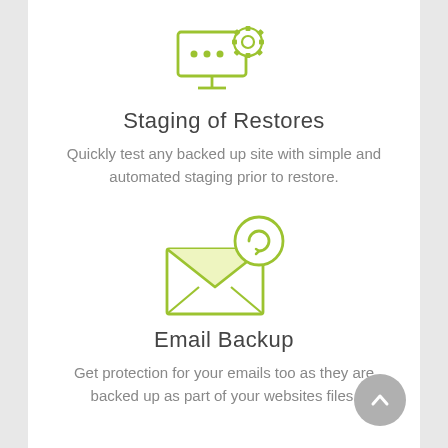[Figure (illustration): Green line icon of a server/monitor with dots and a gear/settings icon overlapping top-right]
Staging of Restores
Quickly test any backed up site with simple and automated staging prior to restore.
[Figure (illustration): Green line icon of an envelope with a circular refresh/restore arrow badge overlapping top-right]
Email Backup
Get protection for your emails too as they are backed up as part of your websites files.